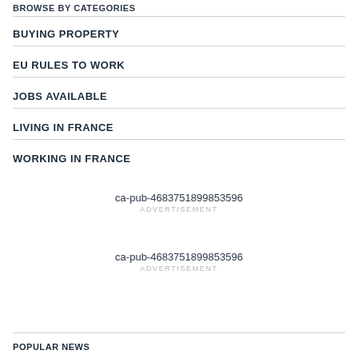BROWSE BY CATEGORIES
BUYING PROPERTY
EU RULES TO WORK
JOBS AVAILABLE
LIVING IN FRANCE
WORKING IN FRANCE
ca-pub-4683751899853596
ADVERTISEMENT
ca-pub-4683751899853596
ADVERTISEMENT
POPULAR NEWS